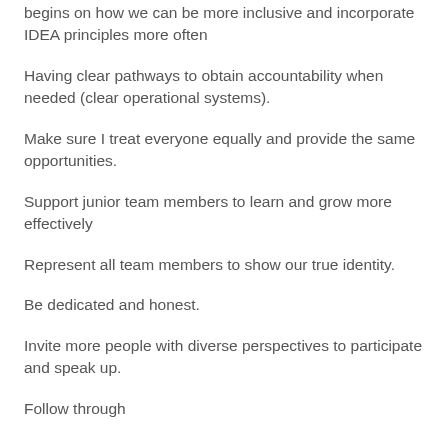begins on how we can be more inclusive and incorporate IDEA principles more often
Having clear pathways to obtain accountability when needed (clear operational systems).
Make sure I treat everyone equally and provide the same opportunities.
Support junior team members to learn and grow more effectively
Represent all team members to show our true identity.
Be dedicated and honest.
Invite more people with diverse perspectives to participate and speak up.
Follow through